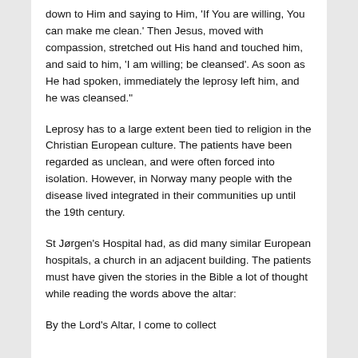down to Him and saying to Him, 'If You are willing, You can make me clean.' Then Jesus, moved with compassion, stretched out His hand and touched him, and said to him, 'I am willing; be cleansed'. As soon as He had spoken, immediately the leprosy left him, and he was cleansed."
Leprosy has to a large extent been tied to religion in the Christian European culture. The patients have been regarded as unclean, and were often forced into isolation. However, in Norway many people with the disease lived integrated in their communities up until the 19th century.
St Jørgen's Hospital had, as did many similar European hospitals, a church in an adjacent building. The patients must have given the stories in the Bible a lot of thought while reading the words above the altar:
By the Lord's Altar, I come to collect